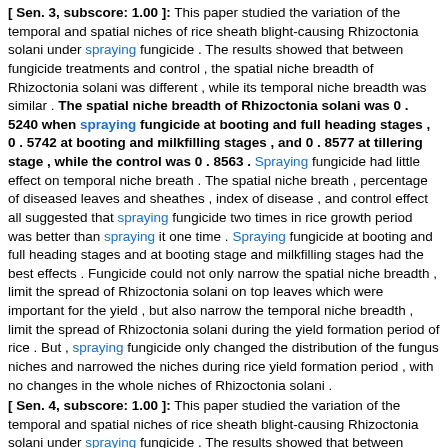[ Sen. 3, subscore: 1.00 ]: This paper studied the variation of the temporal and spatial niches of rice sheath blight-causing Rhizoctonia solani under spraying fungicide . The results showed that between fungicide treatments and control , the spatial niche breadth of Rhizoctonia solani was different , while its temporal niche breadth was similar . The spatial niche breadth of Rhizoctonia solani was 0 . 5240 when spraying fungicide at booting and full heading stages , 0 . 5742 at booting and milkfilling stages , and 0 . 8577 at tillering stage , while the control was 0 . 8563 . Spraying fungicide had little effect on temporal niche breath . The spatial niche breath , percentage of diseased leaves and sheathes , index of disease , and control effect all suggested that spraying fungicide two times in rice growth period was better than spraying it one time . Spraying fungicide at booting and full heading stages and at booting stage and milkfilling stages had the best effects . Fungicide could not only narrow the spatial niche breadth , limit the spread of Rhizoctonia solani on top leaves which were important for the yield , but also narrow the temporal niche breadth , limit the spread of Rhizoctonia solani during the yield formation period of rice . But , spraying fungicide only changed the distribution of the fungus niches and narrowed the niches during rice yield formation period , with no changes in the whole niches of Rhizoctonia solani .
[ Sen. 4, subscore: 1.00 ]: This paper studied the variation of the temporal and spatial niches of rice sheath blight-causing Rhizoctonia solani under spraying fungicide . The results showed that between fungicide treatments and control , the spatial niche breadth of Rhizoctonia solani was different , while its temporal niche breadth was similar . The spatial niche breadth of Rhizoctonia solani was 0 . 5240 when spraying fungicide at booting and full heading stages , 0 . 5742 at booting and milkfilling stages , and 0 . 8577 at tillering stage , while the control was 0 . 8563 . Spraying fungicide had little effect on temporal niche breath . The spatial niche breath , percentage of diseased leaves and sheathes , and